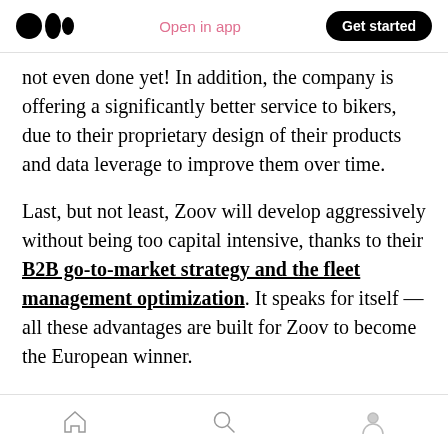Medium app header — logo, Open in app, Get started
not even done yet! In addition, the company is offering a significantly better service to bikers, due to their proprietary design of their products and data leverage to improve them over time.
Last, but not least, Zoov will develop aggressively without being too capital intensive, thanks to their B2B go-to-market strategy and the fleet management optimization. It speaks for itself — all these advantages are built for Zoov to become the European winner.
Don't miss to watch the video here!
Bottom navigation bar — home, search, profile icons